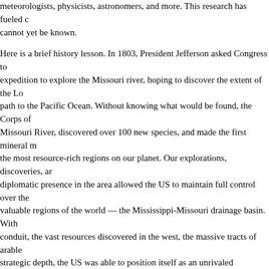meteorologists, physicists, astronomers, and more. This research has fueled c cannot yet be known.
Here is a brief history lesson. In 1803, President Jefferson asked Congress to expedition to explore the Missouri river, hoping to discover the extent of the Lo path to the Pacific Ocean. Without knowing what would be found, the Corps of Missouri River, discovered over 100 new species, and made the first mineral m the most resource-rich regions on our planet. Our explorations, discoveries, ar diplomatic presence in the area allowed the US to maintain full control over the valuable regions of the world — the Mississippi-Missouri drainage basin. With conduit, the vast resources discovered in the west, the massive tracts of arable strategic depth, the US was able to position itself as an unrivaled economic, m hegemon.
None of these outcomes were expected or anticipated. The purchase was a ga expedition was a gamble. The results helped fuel 2 centuries of growth. Do we on the next great frontier? Are we willing to cede the future to India and China, aggressively developing space programs? I would hope that anyone who wish prosperity and security can see that the answer to both of these questions is a
Fortunately, it seems that the public agrees. However, as the Apollo generatio generation gains more influence in policy, NASA's support will be in jeopardy if